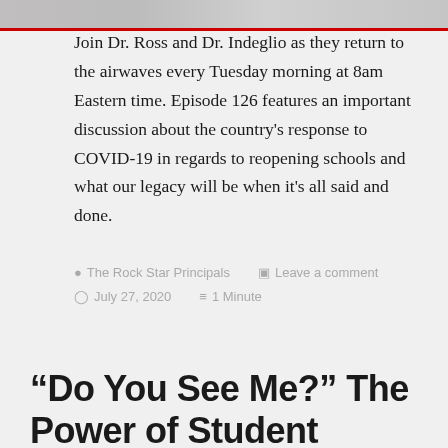[Figure (photo): Top portion of a photo showing people, partially cropped, with a red banner/bar visible at the bottom of the image strip]
Join Dr. Ross and Dr. Indeglio as they return to the airwaves every Tuesday morning at 8am Eastern time. Episode 126 features an important discussion about the country's response to COVID-19 in regards to reopening schools and what our legacy will be when it's all said and done.
The Rock Star Principals   Leave a comment   July 27, 2020   1 Minute
“Do You See Me?” The Power of Student Connections